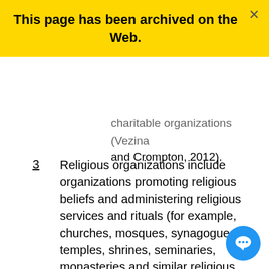This page has been archived on the Web.
charitable organizations (Vezina and Crompton, 2012).
3  Religious organizations include organizations promoting religious beliefs and administering religious services and rituals (for example, churches, mosques, synagogues, temples, shrines, seminaries, monasteries and similar religious institutions), in addition to related organizations and auxiliaries of such organizations.